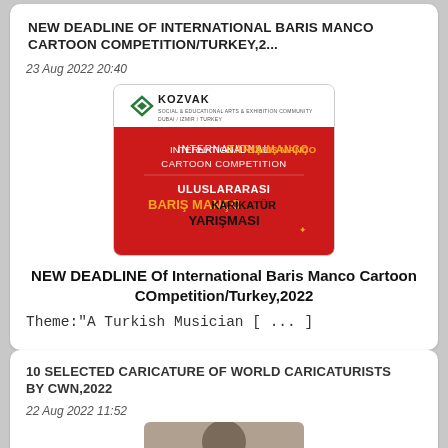NEW DEADLINE OF INTERNATIONAL BARIS MANCO CARTOON COMPETITION/TURKEY,2...
23 Aug 2022 20:40
[Figure (illustration): Kozvak International Baris Manco Cartoon Competition poster with red background and Turkish text]
NEW DEADLINE Of International Baris Manco Cartoon COmpetition/Turkey,2022
Theme:"A Turkish Musician [ ... ]
10 SELECTED CARICATURE OF WORLD CARICATURISTS BY CWN,2022
22 Aug 2022 11:52
[Figure (photo): Partially visible photo of a person at the bottom of the page]